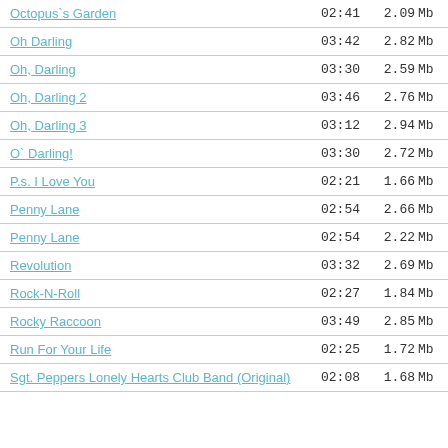Octopus`s Garden  02:41  2.09 Mb
Oh Darling  03:42  2.82 Mb
Oh, Darling  03:30  2.59 Mb
Oh, Darling 2  03:46  2.76 Mb
Oh, Darling 3  03:12  2.94 Mb
O` Darling!  03:30  2.72 Mb
P.s. I Love You  02:21  1.66 Mb
Penny Lane  02:54  2.66 Mb
Penny Lane  02:54  2.22 Mb
Revolution  03:32  2.69 Mb
Rock-N-Roll  02:27  1.84 Mb
Rocky Raccoon  03:49  2.85 Mb
Run For Your Life  02:25  1.72 Mb
Sgt. Peppers Lonely Hearts Club Band (Original)  02:08  1.68 Mb